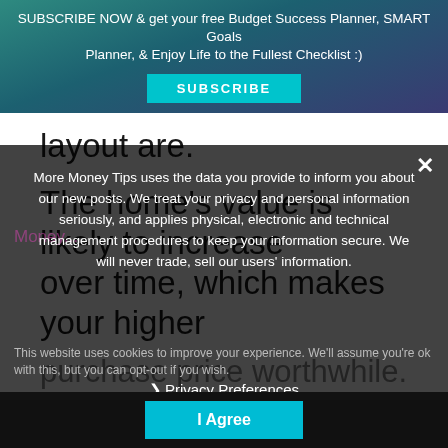SUBSCRIBE NOW & get your free Budget Success Planner, SMART Goals Planner, & Enjoy Life to the Fullest Checklist :)
layout are.
The home's value is likely to increase over time, which makes your higher
purchase price worthwhile.
More Money Tips uses the data you provide to inform you about our new posts. We treat your privacy and personal information seriously, and applies physical, electronic and technical management procedures to keep your information secure. We will never trade, sell our users' information.
This website uses cookies to improve your experience. We'll assume you're ok with this, but you can opt-out if you wish.
❯ Privacy Preferences
I Agree